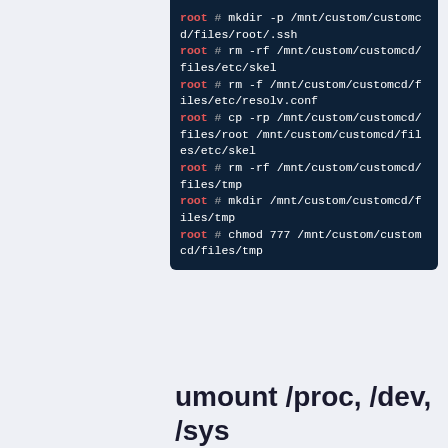[Figure (screenshot): Terminal/code block on dark background showing shell commands with 'root' in red and commands in white monospace font]
umount /proc, /dev, /sys